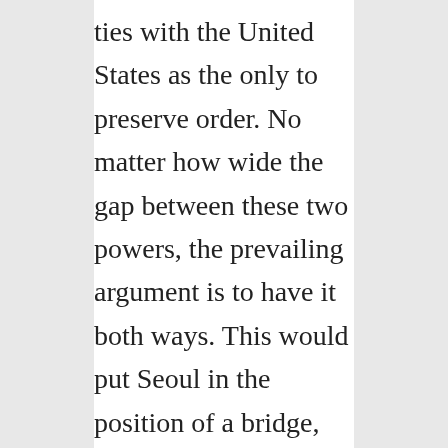ties with the United States as the only to preserve order. No matter how wide the gap between these two powers, the prevailing argument is to have it both ways. This would put Seoul in the position of a bridge, made easier by its frontline position with North Korea and its unique role at a time of increasing polarization between the